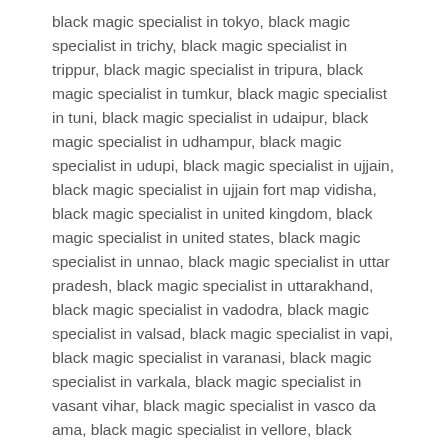black magic specialist in tokyo, black magic specialist in trichy, black magic specialist in trippur, black magic specialist in tripura, black magic specialist in tumkur, black magic specialist in tuni, black magic specialist in udaipur, black magic specialist in udhampur, black magic specialist in udupi, black magic specialist in ujjain, black magic specialist in ujjain fort map vidisha, black magic specialist in united kingdom, black magic specialist in united states, black magic specialist in unnao, black magic specialist in uttar pradesh, black magic specialist in uttarakhand, black magic specialist in vadodra, black magic specialist in valsad, black magic specialist in vapi, black magic specialist in varanasi, black magic specialist in varkala, black magic specialist in vasant vihar, black magic specialist in vasco da ama, black magic specialist in vellore, black magic specialist in vienna, black magic specialist in vijayawada, black magic specialist in vishakhapatnam, black magic specialist in vivek vihar, black magic specialist in vizianagaram, black magic specialist in vrindavan, black magic specialist in warsaw, black magic specialist in washim, black magic specialist in washington,